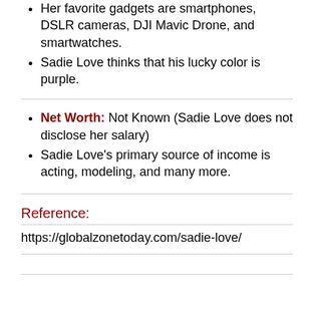Her favorite gadgets are smartphones, DSLR cameras, DJI Mavic Drone, and smartwatches.
Sadie Love thinks that his lucky color is purple.
Net Worth: Not Known (Sadie Love does not disclose her salary)
Sadie Love’s primary source of income is acting, modeling, and many more.
Reference:
https://globalzonetoday.com/sadie-love/